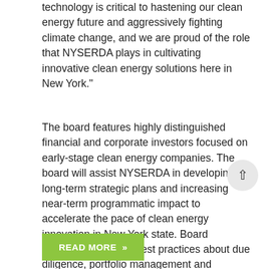technology is critical to hastening our clean energy future and aggressively fighting climate change, and we are proud of the role that NYSERDA plays in cultivating innovative clean energy solutions here in New York."
The board features highly distinguished financial and corporate investors focused on early-stage clean energy companies. The board will assist NYSERDA in developing long-term strategic plans and increasing near-term programmatic impact to accelerate the pace of clean energy innovation in New York state. Board members will share best practices about due diligence, portfolio management and syndication of deals to help emerging companies develop and bring technology to the marketplace more quickly.
READ MORE »